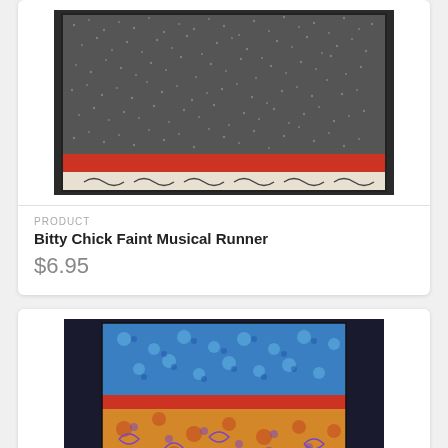[Figure (photo): Product photo of Bitty Chick Faint Musical Runner fabric - dark grey with small white dots on top, red stripe in middle, cream/white with dark swirl pattern on bottom]
PRODUCT
Bitty Chick Faint Musical Runner
$6.95
[Figure (photo): Product photo of a fabric runner with blue floral pattern on top, red stripe in middle, and orange/gold with blue and red floral pattern on bottom, on dark background]